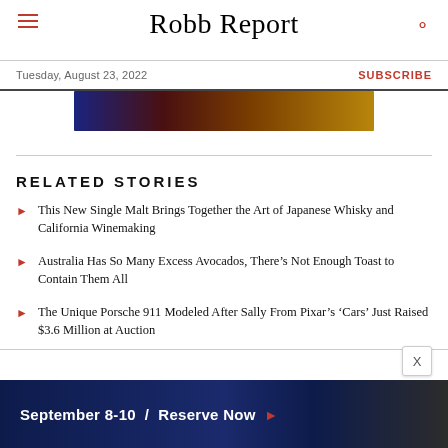Robb Report
Tuesday, August 23, 2022
SUBSCRIBE
[Figure (photo): Partial image banner at top of article page]
RELATED STORIES
This New Single Malt Brings Together the Art of Japanese Whisky and California Winemaking
Australia Has So Many Excess Avocados, There's Not Enough Toast to Contain Them All
The Unique Porsche 911 Modeled After Sally From Pixar's 'Cars' Just Raised $3.6 Million at Auction
[Figure (other): Advertisement banner: September 8-10 / Reserve Now with casino/resort imagery]